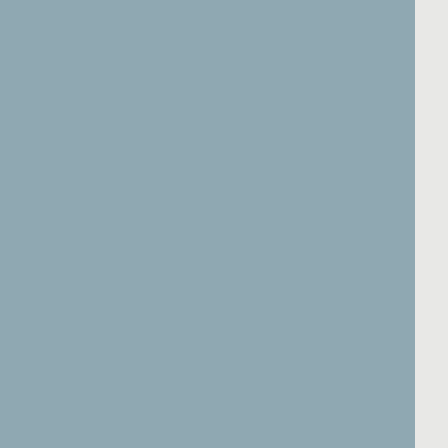If you have wondered about all the activity down there. Remember, the US Military has bases in Egypt and in New Mexico. Odds on, the US Military knows. I am not sure whether the French or Germans know about their own Moon bases really. What a joke.
All of those dead bodies, but also all of their engineering technology for mining and extracting mineral wealth. In each of the cases, vast amounts of precious metals like gold, silver and p...
I thought I would share this with the world. My point is that fighting force is controlled, mostly, by the United States. Can China become players? Not likely with their hostility to the US. China has to be on board.
If the Moon Germans make a claim, they have six... China or Russia or Anyone else will set up Moon b...
Can the US Military really let a corrupt One World... destruction of the US Constitution are one thing, b...
There is more at stake than most of us realize. W...